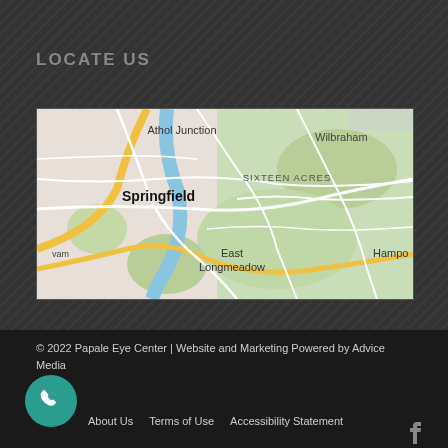LOCATE US
[Figure (map): Google Maps view showing Springfield area including Athol Junction, Sixteen Acres, Wilbraham, East Longmeadow, Hampden, and Agawam]
© 2022 Papale Eye Center | Website and Marketing Powered by Advice Media
About Us
Terms of Use
Accessibility Statement